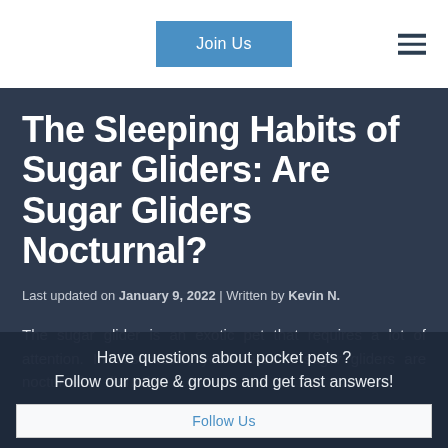Join Us
The Sleeping Habits of Sugar Gliders: Are Sugar Gliders Nocturnal?
Last updated on January 9, 2022 | Written by Kevin N.
The sugar glider is an exotic pet that requires a lot of attention. In this article, you’ll learn if sugar gliders are nocturnal or diurnal
Have questions about pocket pets ? Follow our page & groups and get fast answers!
Follow Us